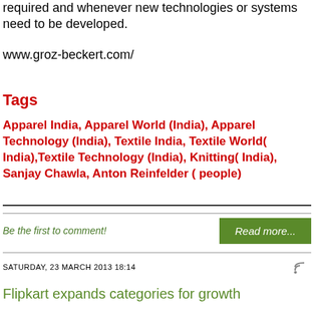required and whenever new technologies or systems need to be developed.
www.groz-beckert.com/
Tags
Apparel India, Apparel World (India), Apparel Technology (India), Textile India, Textile World( India),Textile Technology (India), Knitting( India), Sanjay Chawla, Anton Reinfelder ( people)
Be the first to comment!
Read more...
SATURDAY, 23 MARCH 2013 18:14
Flipkart expands categories for growth